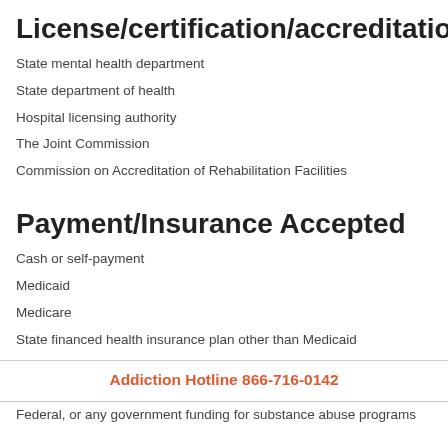License/certification/accreditation
State mental health department
State department of health
Hospital licensing authority
The Joint Commission
Commission on Accreditation of Rehabilitation Facilities
Payment/Insurance Accepted
Cash or self-payment
Medicaid
Medicare
State financed health insurance plan other than Medicaid
Addiction Hotline 866-716-0142
Federal, or any government funding for substance abuse programs